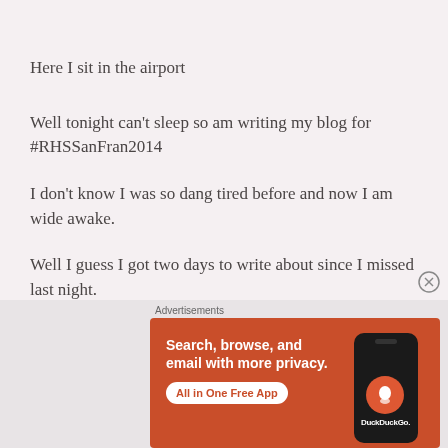Here I sit in the airport
Well tonight can’t sleep so am writing my blog for #RHSSanFran2014
I don’t know I was so dang tired before and now I am wide awake.
Well I guess I got two days to write about since I missed last night.
[Figure (screenshot): DuckDuckGo advertisement banner: orange/red background with text 'Search, browse, and email with more privacy. All in One Free App' and a phone mockup showing DuckDuckGo logo on the right side. Label 'Advertisements' above the banner.]